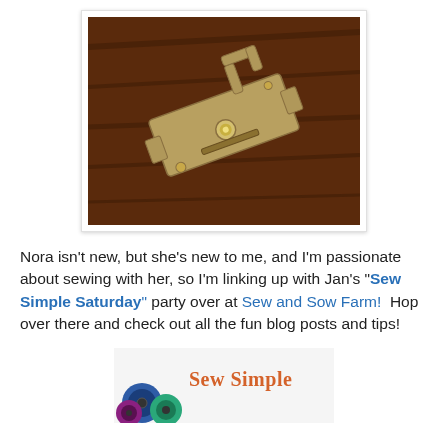[Figure (photo): A metal sewing machine part (presser foot or similar attachment) photographed on a dark wooden surface.]
Nora isn't new, but she's new to me, and I'm passionate about sewing with her, so I'm linking up with Jan's "Sew Simple Saturday" party over at Sew and Sow Farm!  Hop over there and check out all the fun blog posts and tips!
[Figure (photo): Partial view of a 'Sew Simple' banner/graphic with colorful thread spools.]